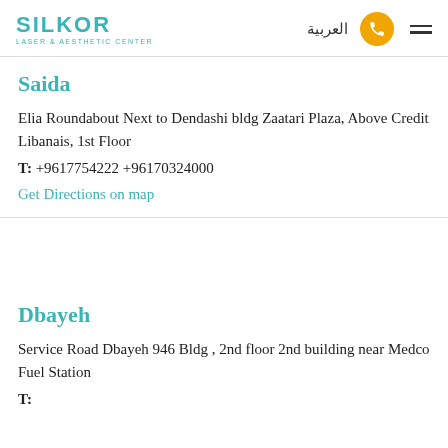SILKOR LASER & AESTHETIC CENTER | العربية | [phone icon] | [menu]
Saida
Elia Roundabout Next to Dendashi bldg Zaatari Plaza, Above Credit Libanais, 1st Floor
T:  +9617754222 +96170324000
Get Directions on map
Dbayeh
Service Road Dbayeh 946 Bldg , 2nd floor 2nd building near Medco Fuel Station
T: